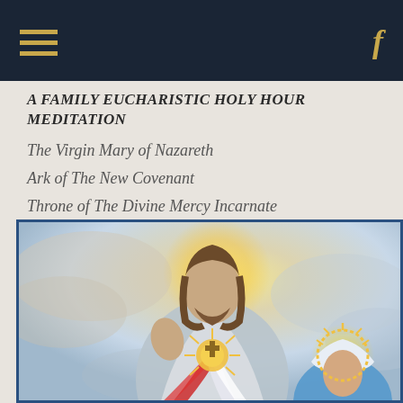Navigation bar with hamburger menu and Facebook icon
A FAMILY EUCHARISTIC HOLY HOUR MEDITATION
The Virgin Mary of Nazareth
Ark of The New Covenant
Throne of The Divine Mercy Incarnate
[Figure (illustration): Religious illustration depicting Jesus Christ with Divine Mercy rays emanating from his heart, with the Virgin Mary shown in the lower right corner, both depicted in classical devotional painting style with soft blue, red, and gold colors against a cloud background.]